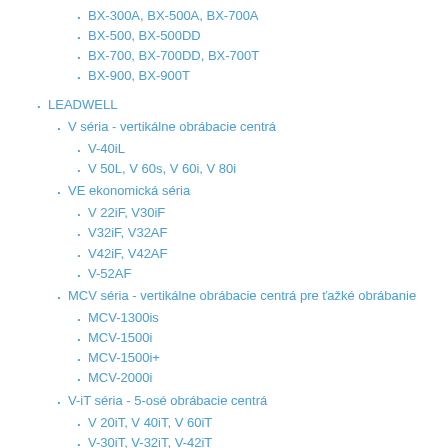BX-300A, BX-500A, BX-700A
BX-500, BX-500DD
BX-700, BX-700DD, BX-700T
BX-900, BX-900T
LEADWELL
V séria - vertikálne obrábacie centrá
V-40iL
V 50L, V 60s, V 60i, V 80i
VE ekonomická séria
V 22iF, V30iF
V32iF, V32AF
V42iF, V42AF
V-52AF
MCV séria - vertikálne obrábacie centrá pre ťažké obrábanie
MCV-1300is
MCV-1500i
MCV-1500i+
MCV-2000i
V-iT séria - 5-osé obrábacie centrá
V 20iT, V 40iT, V 60iT
V-30iT, V-32iT, V-42iT
LC séria
LCV-500, LCV-760
BC séria
BC600 700 800 960
BC600T 700T 800T 960T